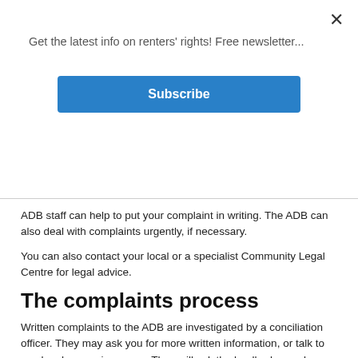Get the latest info on renters' rights! Free newsletter...
Subscribe
ADB staff can help to put your complaint in writing. The ADB can also deal with complaints urgently, if necessary.
You can also contact your local or a specialist Community Legal Centre for legal advice.
The complaints process
Written complaints to the ADB are investigated by a conciliation officer. They may ask you for more written information, or talk to you by phone or in person. They will ask the landlord or real estate agent to respond to your complaint.
If the ADB finds that there is a basis for your